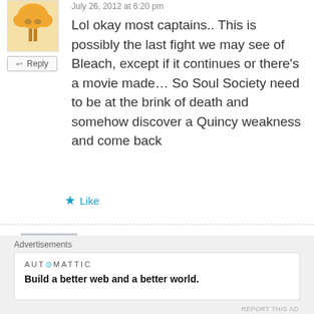July 26, 2012 at 6:20 pm
Lol okay most captains.. This is possibly the last fight we may see of Bleach, except if it continues or there's a movie made… So Soul Society need to be at the brink of death and somehow discover a Quincy weakness and come back
Like
Ne3X7
July 26, 2012 at 6:28 pm
Possibly so, but I think some caps
Advertisements
AUTOMATTIC
Build a better web and a better world.